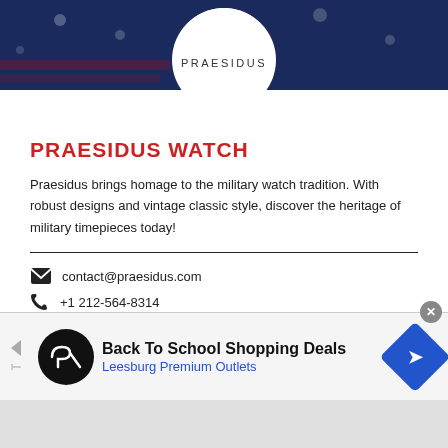[Figure (logo): Praesidus logo on white circle over dark navy flag background. Text reads PRAESIDUS in spaced caps.]
PRAESIDUS WATCH
Praesidus brings homage to the military watch tradition. With robust designs and vintage classic style, discover the heritage of military timepieces today!
contact@praesidus.com
+1 212-564-8314
Visit Website
[Figure (infographic): Social media icons: Facebook and Instagram circles in red]
[Figure (infographic): Advertisement banner: Back To School Shopping Deals - Leesburg Premium Outlets]